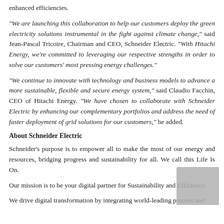enhanced efficiencies.
"We are launching this collaboration to help our customers deploy the green electricity solutions instrumental in the fight against climate change," said Jean-Pascal Tricoire, Chairman and CEO, Schneider Electric. "With Hitachi Energy, we're committed to leveraging our respective strengths in order to solve our customers' most pressing energy challenges."
"We continue to innovate with technology and business models to advance a more sustainable, flexible and secure energy system," said Claudio Facchin, CEO of Hitachi Energy. "We have chosen to collaborate with Schneider Electric by enhancing our complementary portfolios and address the need of faster deployment of grid solutions for our customers," he added.
About Schneider Electric
Schneider's purpose is to empower all to make the most of our energy and resources, bridging progress and sustainability for all. We call this Life Is On.
Our mission is to be your digital partner for Sustainability and Efficiency.
We drive digital transformation by integrating world-leading process and